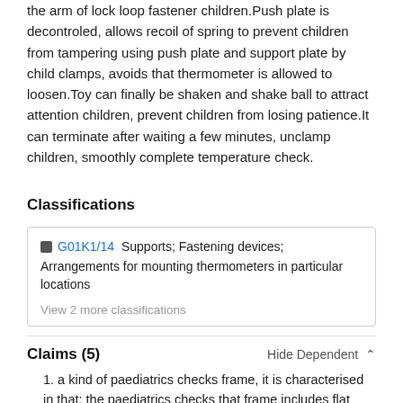the arm of lock loop fastener children.Push plate is decontroled, allows recoil of spring to prevent children from tampering using push plate and support plate by child clamps, avoids that thermometer is allowed to loosen.Toy can finally be shaken and shake ball to attract attention children, prevent children from losing patience.It can terminate after waiting a few minutes, unclamp children, smoothly complete temperature check.
Classifications
G01K1/14  Supports; Fastening devices; Arrangements for mounting thermometers in particular locations
View 2 more classifications
Claims (5)
Hide Dependent
1. a kind of paediatrics checks frame, it is characterised in that: the paediatrics checks that frame includes flat pedestal (1), and